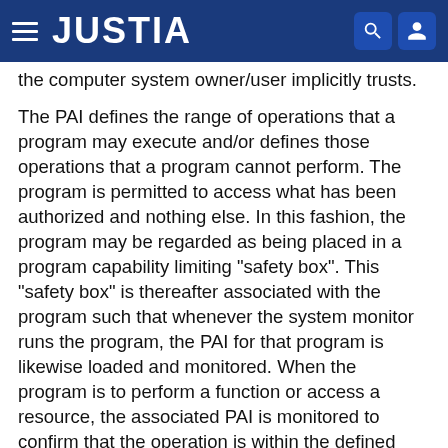JUSTIA
the computer system owner/user implicitly trusts.
The PAI defines the range of operations that a program may execute and/or defines those operations that a program cannot perform. The program is permitted to access what has been authorized and nothing else. In this fashion, the program may be regarded as being placed in a program capability limiting "safety box". This "safety box" is thereafter associated with the program such that whenever the system monitor runs the program, the PAI for that program is likewise loaded and monitored. When the program is to perform a function or access a resource, the associated PAI is monitored to confirm that the operation is within the defined program limits. If the program attempts to do anything outside the authorized limits, then the program execution is halted.